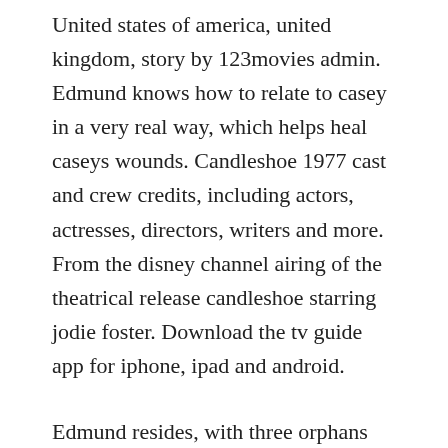United states of america, united kingdom, story by 123movies admin. Edmund knows how to relate to casey in a very real way, which helps heal caseys wounds. Candleshoe 1977 cast and crew credits, including actors, actresses, directors, writers and more. From the disney channel airing of the theatrical release candleshoe starring jodie foster. Download the tv guide app for iphone, ipad and android.
Edmund resides, with three orphans and her butler priory is the resting place for a hoard of